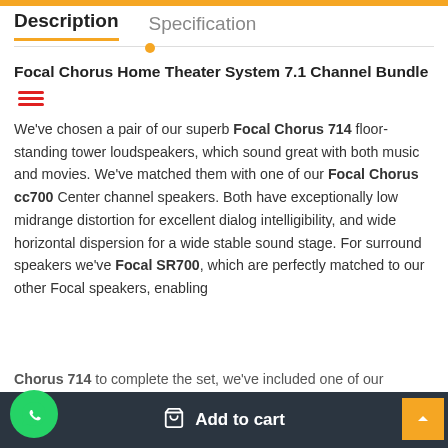Description | Specification
Focal Chorus Home Theater System 7.1 Channel Bundle
We've chosen a pair of our superb Focal Chorus 714 floor-standing tower loudspeakers, which sound great with both music and movies. We've matched them with one of our Focal Chorus cc700 Center channel speakers. Both have exceptionally low midrange distortion for excellent dialog intelligibility, and wide horizontal dispersion for a wide stable sound stage. For surround speakers we've Focal SR700, which are perfectly matched to our other Focal speakers, enabling them to tailor them perfectly to a wide variety of installations.
Chorus 714 to complete the set, we've included one of our